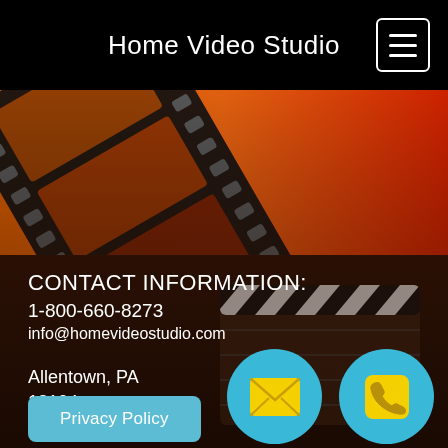Home Video Studio
[Figure (illustration): Film strip reel on an orange to red gradient background]
CONTACT INFORMATION:
1-800-660-8273
info@homevideostudio.com
Allentown, PA
18104
Privacy Policy
[Figure (illustration): Cyan circle with yellow email envelope icon]
[Figure (illustration): Cyan circle with yellow phone icon]